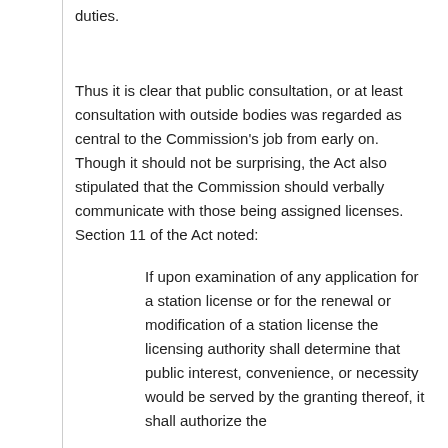duties.
Thus it is clear that public consultation, or at least consultation with outside bodies was regarded as central to the Commission's job from early on. Though it should not be surprising, the Act also stipulated that the Commission should verbally communicate with those being assigned licenses. Section 11 of the Act noted:
If upon examination of any application for a station license or for the renewal or modification of a station license the licensing authority shall determine that public interest, convenience, or necessity would be served by the granting thereof, it shall authorize the